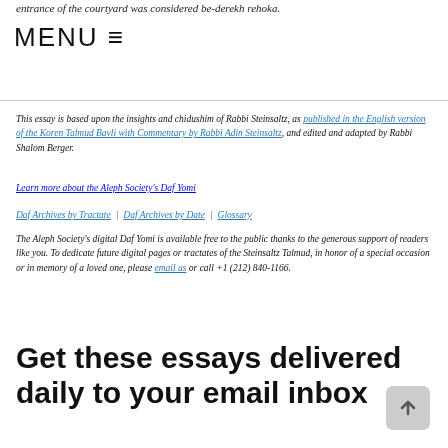entrance of the courtyard was considered be-derekh rehoka.
MENU ≡
This essay is based upon the insights and chidushim of Rabbi Steinsaltz, as published in the English version of the Koren Talmud Bavli with Commentary by Rabbi Adin Steinsaltz, and edited and adapted by Rabbi Shalom Berger.
Learn more about the Aleph Society's Daf Yomi
Daf Archives by Tractate  |  Daf Archives by Date  |  Glossary
The Aleph Society's digital Daf Yomi is available free to the public thanks to the generous support of readers like you. To dedicate future digital pages or tractates of the Steinsaltz Talmud, in honor of a special occasion or in memory of a loved one, please email us or call +1 (212) 840-1166.
Get these essays delivered daily to your email inbox